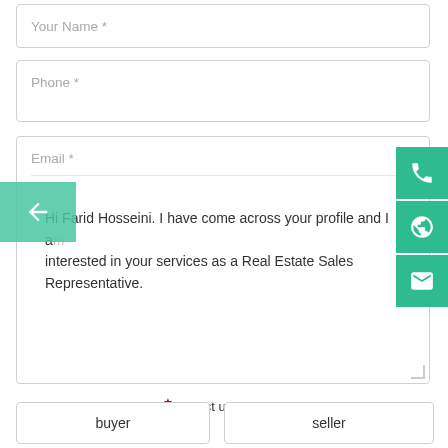Your Name *
Phone *
Email *
Hi Farid Hosseini. I have come across your profile and I am interested in your services as a Real Estate Sales Representative.
I am a: * (select up to 2 categories)
buyer
seller